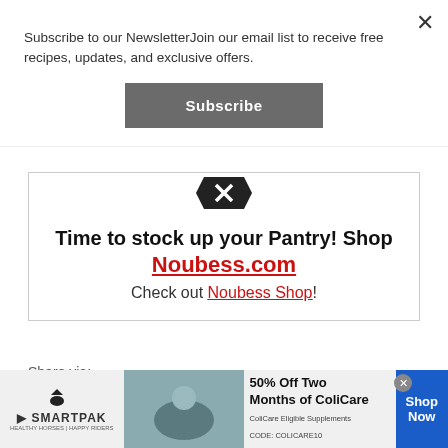Subscribe to our NewsletterJoin our email list to receive free recipes, updates, and exclusive offers.
[Figure (screenshot): Subscribe button — dark grey rounded rectangle with white text 'Subscribe']
[Figure (infographic): Promotional box with diamond/chevron icon, bold text 'Time to stock up your Pantry! Shop Noubess.com', subtext 'Check out Noubess Shop!']
Share via:
[Figure (infographic): Social share buttons: Facebook, Twitter, Email, Print, Copy, and More]
[Figure (infographic): SmartPak advertisement banner: '50% Off Two Months of ColiCare, ColiCare Eligible Supplements, CODE: COLICARE10' with Shop Now button]